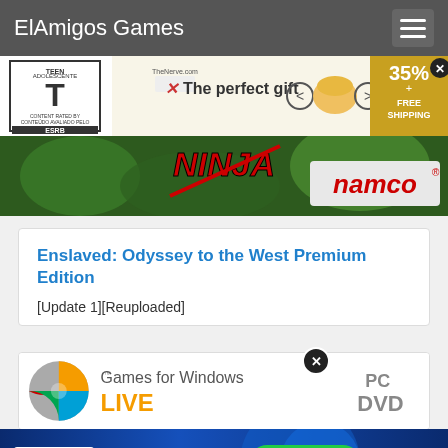ElAmigos Games
[Figure (screenshot): Advertisement banner showing 'The perfect gift' with TheNerve.com logo, ESRB Teen rating box, navigation arrows, popcorn bowl image, and 35% + FREE SHIPPING discount box. Bottom half shows Namco Ninja game banner.]
Enslaved: Odyssey to the West Premium Edition
[Update 1][Reuploaded]
[Figure (screenshot): Games for Windows LIVE logo with Windows sphere icon and PC DVD label on the right.]
[Figure (screenshot): 1XBET advertisement banner with RECEBA O BÔNUS green button and price 1949.]